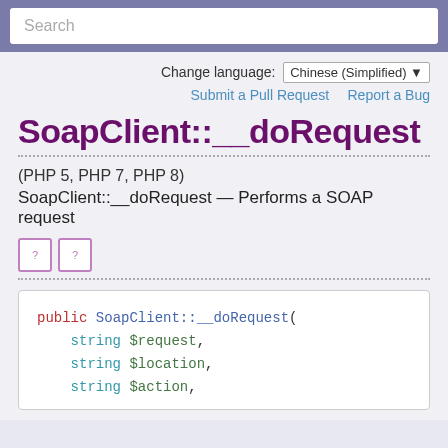Search
Change language: Chinese (Simplified)
Submit a Pull Request   Report a Bug
SoapClient::__doRequest
(PHP 5, PHP 7, PHP 8)
SoapClient::__doRequest — Performs a SOAP request
[Figure (other): PHP language icons (two small boxes with '?' symbols)]
public SoapClient::__doRequest(
    string $request,
    string $location,
    string $action,